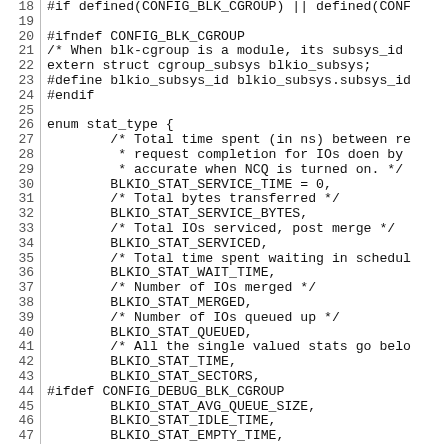Source code listing, lines 18-47, C header file with blk-cgroup stat type enum definition
18: #if defined(CONFIG_BLK_CGROUP) || defined(CONF...
19: (blank)
20: #ifndef CONFIG_BLK_CGROUP
21: /* When blk-cgroup is a module, its subsys_id...
22: extern struct cgroup_subsys blkio_subsys;
23: #define blkio_subsys_id blkio_subsys.subsys_id...
24: #endif
25: (blank)
26: enum stat_type {
27:         /* Total time spent (in ns) between re...
28:          * request completion for IOs doen by...
29:          * accurate when NCQ is turned on. */
30:         BLKIO_STAT_SERVICE_TIME = 0,
31:         /* Total bytes transferred */
32:         BLKIO_STAT_SERVICE_BYTES,
33:         /* Total IOs serviced, post merge */
34:         BLKIO_STAT_SERVICED,
35:         /* Total time spent waiting in schedu...
36:         BLKIO_STAT_WAIT_TIME,
37:         /* Number of IOs merged */
38:         BLKIO_STAT_MERGED,
39:         /* Number of IOs queued up */
40:         BLKIO_STAT_QUEUED,
41:         /* All the single valued stats go belo...
42:         BLKIO_STAT_TIME,
43:         BLKIO_STAT_SECTORS,
44: #ifdef CONFIG_DEBUG_BLK_CGROUP
45:         BLKIO_STAT_AVG_QUEUE_SIZE,
46:         BLKIO_STAT_IDLE_TIME,
47:         BLKIO_STAT_EMPTY_TIME,